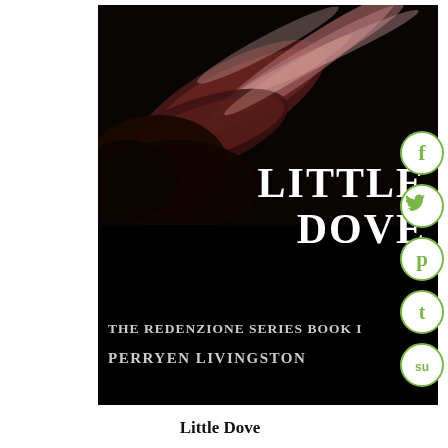[Figure (illustration): Book cover for 'Little Dove' by Perryen Livingston. Dark black background with reddish-tinted feathers in the upper left corner. Title 'LITTLE DOVE' in large bold white serif text on the right side. Subtitle 'THE REDENZIONE SERIES BOOK I' and author name 'PERRYEN LIVINGSTON' in lighter serif text near the bottom.]
[Figure (infographic): Vertical column of five circular social media share buttons with green outlines on white background: Facebook (f), Twitter (bird), Pinterest (P), Tumblr (t), StumbleUpon (su)]
Little Dove